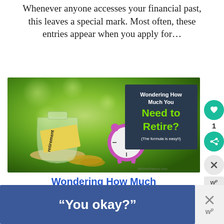Whenever anyone accesses your financial past, this leaves a special mark. Most often, these entries appear when you apply for…
[Figure (photo): Photo of a glass jar labeled 'retirement' filled with coins tipped over, a pink alarm clock, and a dark overlay card reading 'Wondering How Much You Need to Retire? (The formula is easy!!)' with white and green text on a bokeh green background.]
Wondering How Much
“You okay?”